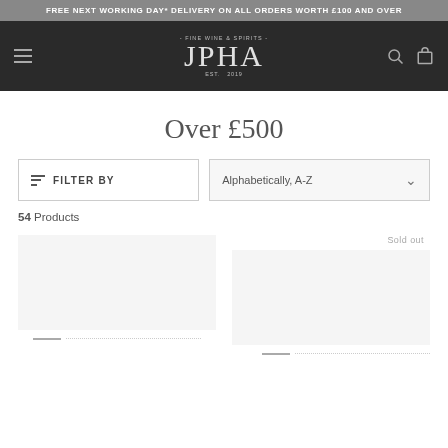FREE NEXT WORKING DAY* DELIVERY ON ALL ORDERS WORTH £100 AND OVER
[Figure (logo): JPHA Fine Wine & Spirits logo with hamburger menu, search icon, and bag icon on dark navbar]
Over £500
FILTER BY | Alphabetically, A-Z
54 Products
Sold out
[Figure (other): Two product placeholder image areas with decorative divider lines below each]